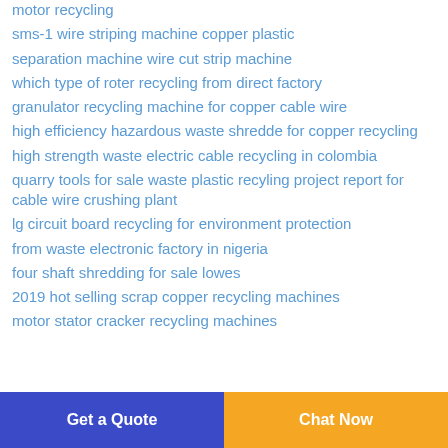motor recycling
sms-1 wire striping machine copper plastic
separation machine wire cut strip machine
which type of roter recycling from direct factory
granulator recycling machine for copper cable wire
high efficiency hazardous waste shredde for copper recycling
high strength waste electric cable recycling in colombia
quarry tools for sale waste plastic recyling project report for cable wire crushing plant
lg circuit board recycling for environment protection
from waste electronic factory in nigeria
four shaft shredding for sale lowes
2019 hot selling scrap copper recycling machines
motor stator cracker recycling machines
Get a Quote | Chat Now